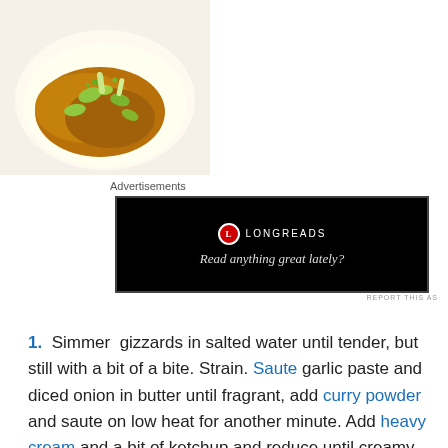[Figure (photo): Food photo of a curry or spiced dish with green vegetables and herbs on a white plate]
Advertisements
[Figure (screenshot): Advertisement banner: Longreads logo with text 'Read anything great lately?' on black background]
REPORT THIS AS
1. Simmer gizzards in salted water until tender, but still with a bit of a bite. Strain. Saute garlic paste and diced onion in butter until fragrant, add curry powder and saute on low heat for another minute. Add heavy cream and a bit of ketchup and reduce until creamy. Add the gizzards, simmer for another minute. Season with kosher salt and cayenne pepper, set aside.
2. Simmer peeled and cut potatoes until tender but still keeping their shape. Saute in LOT'S of butter without